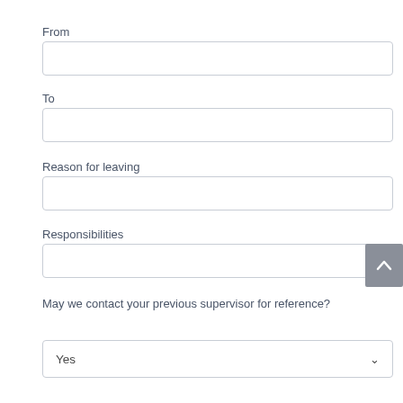From
To
Reason for leaving
Responsibilities
May we contact your previous supervisor for reference?
Yes